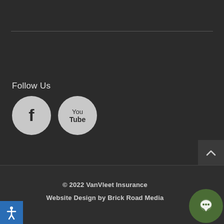Follow Us
[Figure (logo): Facebook circular icon with white 'f' on grey background]
[Figure (logo): YouTube circular icon with 'You Tube' text on grey background]
© 2022 VanVleet Insurance
Website Design by Brick Road Media